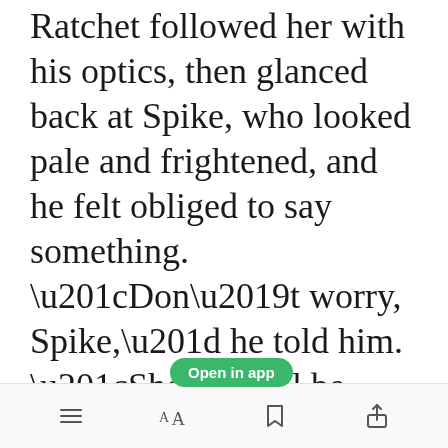Ratchet followed her with his optics, then glanced back at Spike, who looked pale and frightened, and he felt obliged to say something. “Don’t worry, Spike,” he told him. “She’ll be alright; I’ll see to it.”
He got a quick nod in response, and after exchanging a swift glance with his fellow officers, he turned to follow his charge, letting the doors swish shut behind him.
[Figure (other): Green 'Open in app' button overlay on text]
Toolbar with menu, font, bookmark, and share icons